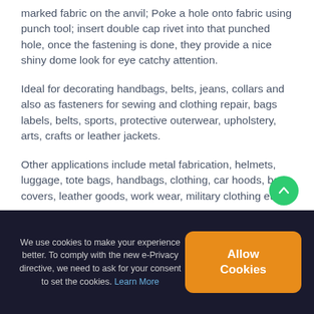marked fabric on the anvil; Poke a hole onto fabric using punch tool; insert double cap rivet into that punched hole, once the fastening is done, they provide a nice shiny dome look for eye catchy attention.
Ideal for decorating handbags, belts, jeans, collars and also as fasteners for sewing and clothing repair, bags labels, belts, sports, protective outerwear, upholstery, arts, crafts or leather jackets.
Other applications include metal fabrication, helmets, luggage, tote bags, handbags, clothing, car hoods, boat covers, leather goods, work wear, military clothing etc.
We use cookies to make your experience better. To comply with the new e-Privacy directive, we need to ask for your consent to set the cookies. Learn More